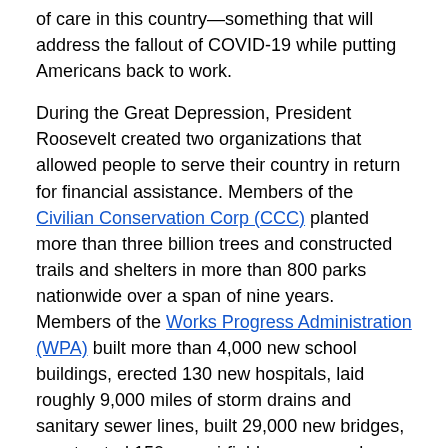of care in this country—something that will address the fallout of COVID-19 while putting Americans back to work.
During the Great Depression, President Roosevelt created two organizations that allowed people to serve their country in return for financial assistance. Members of the Civilian Conservation Corp (CCC) planted more than three billion trees and constructed trails and shelters in more than 800 parks nationwide over a span of nine years. Members of the Works Progress Administration (WPA) built more than 4,000 new school buildings, erected 130 new hospitals, laid roughly 9,000 miles of storm drains and sanitary sewer lines, built 29,000 new bridges, constructed 150 new airfields, sponsored projects in the arts, and more over a span of eight years.
Similar to how these programs enriched our country while providing modest financial assistance to many